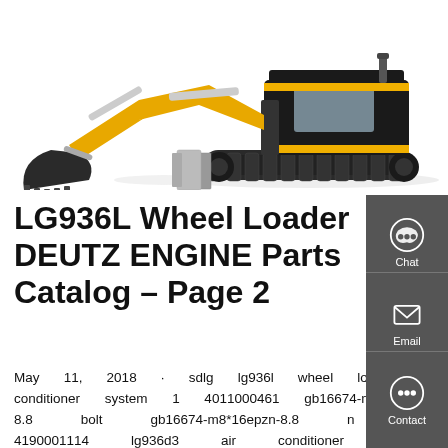[Figure (photo): Photo of a compact excavator/wheel loader with yellow and black color scheme, showing the machine with bucket arm extended to the left and dozer blade at the front on tracks.]
LG936L Wheel Loader DEUTZ ENGINE Parts Catalog – Page 2
May 11, 2018 · sdlg lg936l wheel loader air conditioner system 1 4011000461 gb16674-m8*16epzn-8.8 bolt gb16674-m8*16epzn-8.8 n 2 4190001114 lg936d3 air conditioner lg936d3 4011000154 gb16674-m6*20epzn-8.8 bolt gb16674-m6*20epzn-8.8 n 3 4 4011000533 gb5782-m18*50epzn-8.8 bolt gb5782-m18*50epzn-8.8 n 2 5